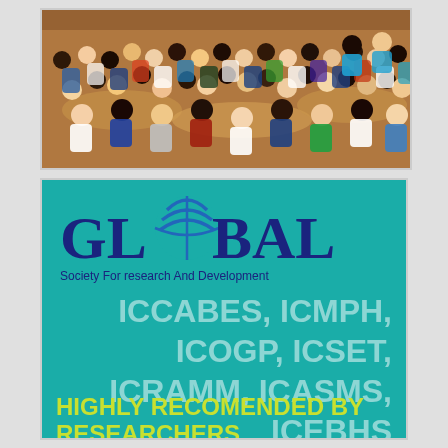[Figure (photo): Aerial/overhead view of a large crowd of people seated at tables at a conference or banquet event]
[Figure (illustration): Teal/turquoise promotional banner for Global Society For Research And Development featuring conference acronyms: ICCABES, ICMPH, ICOGP, ICSET, ICRAMM, ICASMS, ICEBHS and text 'HIGHLY RECOMENDED BY RESEARCHERS']